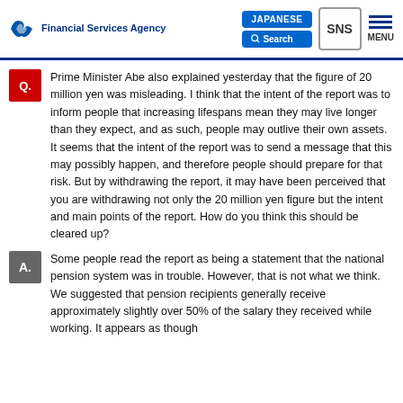Financial Services Agency | JAPANESE | Search | SNS | MENU
Prime Minister Abe also explained yesterday that the figure of 20 million yen was misleading. I think that the intent of the report was to inform people that increasing lifespans mean they may live longer than they expect, and as such, people may outlive their own assets. It seems that the intent of the report was to send a message that this may possibly happen, and therefore people should prepare for that risk. But by withdrawing the report, it may have been perceived that you are withdrawing not only the 20 million yen figure but the intent and main points of the report. How do you think this should be cleared up?
Some people read the report as being a statement that the national pension system was in trouble. However, that is not what we think. We suggested that pension recipients generally receive approximately slightly over 50% of the salary they received while working. It appears as though